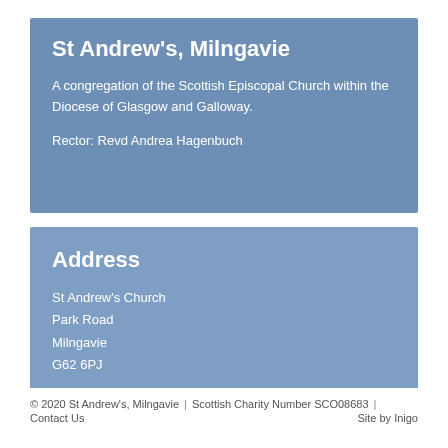St Andrew's, Milngavie
A congregation of the Scottish Episcopal Church within the Diocese of Glasgow and Galloway.
Rector: Revd Andrea Hagenbuch
Address
St Andrew's Church
Park Road
Milngavie
G62 6PJ
© 2020 St Andrew's, Milngavie | Scottish Charity Number SCO08683 | Contact Us  Site by Inigo